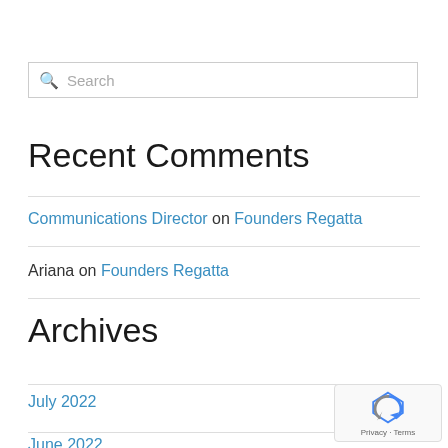Search
Recent Comments
Communications Director on Founders Regatta
Ariana on Founders Regatta
Archives
July 2022
June 2022